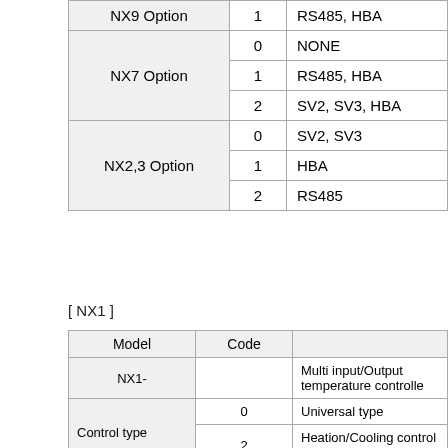|  | Code | Description |
| --- | --- | --- |
| NX9 Option | 1 | RS485, HBA |
| NX7 Option | 0 | NONE |
| NX7 Option | 1 | RS485, HBA |
| NX7 Option | 2 | SV2, SV3, HBA |
| NX2,3 Option | 0 | SV2, SV3 |
| NX2,3 Option | 1 | HBA |
| NX2,3 Option | 2 | RS485 |
[ NX1 ]
| Model | Code |  |  |
| --- | --- | --- | --- |
| NX1- |  |  | Multi input/Output temperature controller |
| Control type | 0 |  | Universal type |
| Control type | 2 |  | Heation/Cooling control (simultaneously) |
|  |  | Type options | H |
|  | 0 | RET |  |